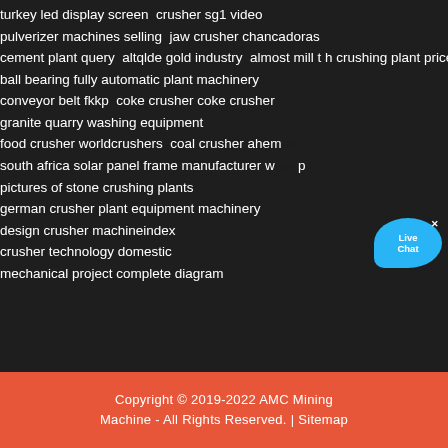turkey led display screen  crusher sg1 video
pulverizer machines selling  jaw crusher chancadoras
cement plant query  altqlde gold industry  almost mill t h crushing plant price
ball bearing fully automatic plant machinery
conveyor belt fkkp  coke crusher coke crusher
granite quarry washing equipment
food crusher worldcrushers  coal crusher ahemb...
south africa solar panel frame manufacturer w... best p
pictures of stone crushing plants
german crusher plant equipment machinery
design crusher machineindex
crusher technology domestic
mechanical project complete diagram
[Figure (other): Live Chat button widget — blue speech bubble with 'Live Chat' text and X close button]
Copyright © 2019-2022 AMC Mining Machine - All Rights Reserved. | Sitemap